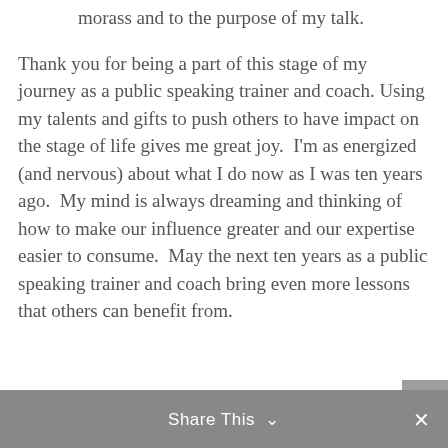morass and to the purpose of my talk.
Thank you for being a part of this stage of my journey as a public speaking trainer and coach. Using my talents and gifts to push others to have impact on the stage of life gives me great joy.  I'm as energized (and nervous) about what I do now as I was ten years ago.  My mind is always dreaming and thinking of how to make our influence greater and our expertise easier to consume.  May the next ten years as a public speaking trainer and coach bring even more lessons that others can benefit from.
Share This ∨